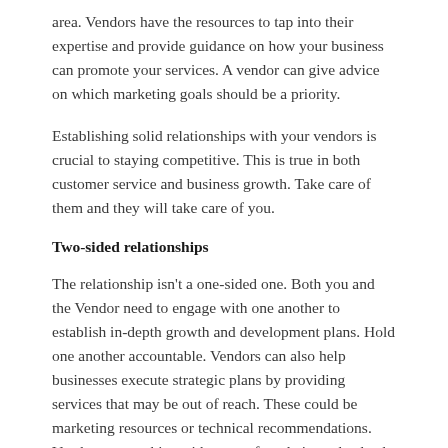area. Vendors have the resources to tap into their expertise and provide guidance on how your business can promote your services. A vendor can give advice on which marketing goals should be a priority.
Establishing solid relationships with your vendors is crucial to staying competitive. This is true in both customer service and business growth. Take care of them and they will take care of you.
Two-sided relationships
The relationship isn't a one-sided one. Both you and the Vendor need to engage with one another to establish in-depth growth and development plans. Hold one another accountable. Vendors can also help businesses execute strategic plans by providing services that may be out of reach. These could be marketing resources or technical recommendations. Vendor partnerships with strong foundations also lead to efficiency in operations.